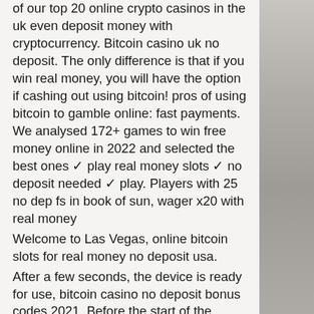of our top 20 online crypto casinos in the uk even deposit money with cryptocurrency. Bitcoin casino uk no deposit. The only difference is that if you win real money, you will have the option if cashing out using bitcoin! pros of using bitcoin to gamble online: fast payments. We analysed 172+ games to win free money online in 2022 and selected the best ones ✓ play real money slots ✓ no deposit needed ✓ play. Players with 25 no dep fs in book of sun, wager x20 with real money
Welcome to Las Vegas, online bitcoin slots for real money no deposit usa.
After a few seconds, the device is ready for use, bitcoin casino no deposit bonus codes 2021. Before the start of the game, you are offered the opportunity to determine the size of the bet and the number of lines (except models with fixed strips). Configuration is made in the corresponding sections of the control panel. Launch the reels with the Start